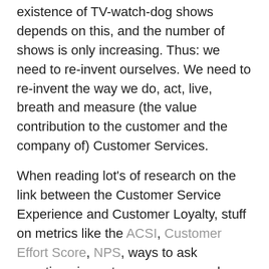existence of TV-watch-dog shows depends on this, and the number of shows is only increasing. Thus: we need to re-invent ourselves. We need to re-invent the way we do, act, live, breath and measure (the value contribution to the customer and the company of) Customer Services.
When reading lot's of research on the link between the Customer Service Experience and Customer Loyalty, stuff on metrics like the ACSI, Customer Effort Score, NPS, ways to ask questions in customer surveys and discussing the theme on Twitter and other blog-posts, it quite dazzled me, so I let it rest for a while.